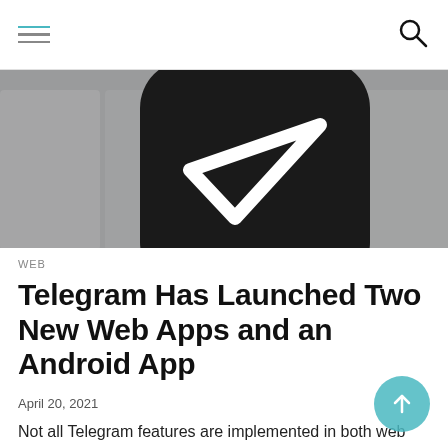Navigation header with hamburger menu and search icon
[Figure (photo): Close-up of a dark rounded square app icon or object on a grey background, partially cropped, resembling a Telegram logo or abstract shape]
WEB
Telegram Has Launched Two New Web Apps and an Android App
April 20, 2021
Not all Telegram features are implemented in both web apps at the moment. For example, they do not yet support secret and voice chats, audio and video